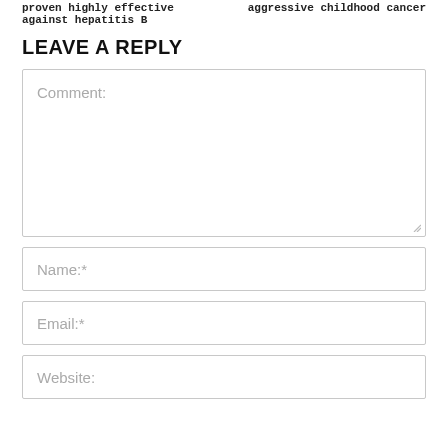proven highly effective against hepatitis B
aggressive childhood cancer
LEAVE A REPLY
Comment:
Name:*
Email:*
Website: